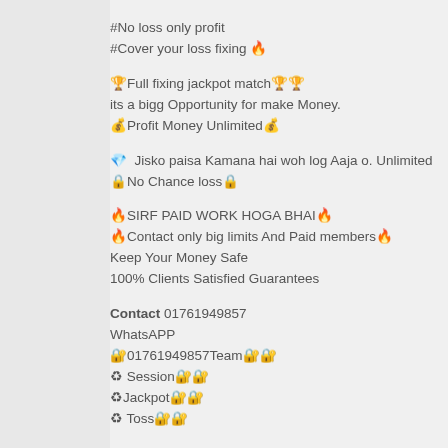#No loss only profit
#Cover your loss fixing 🔥
🏆Full fixing jackpot match🏆🏆
its a bigg Opportunity for make Money.
💰Profit Money Unlimited💰
💎  Jisko paisa Kamana hai woh log Aaja o. Unlimited
🔒No Chance loss🔒
🔥SIRF PAID WORK HOGA BHAI🔥
🔥Contact only big limits And Paid members🔥
Keep Your Money Safe
100% Clients Satisfied Guarantees
Contact 01761949857
WhatsAPP
🔐01761949857Team🔐🔐
♻ Session🔐🔐
♻Jackpot🔐🔐
♻ Toss🔐🔐